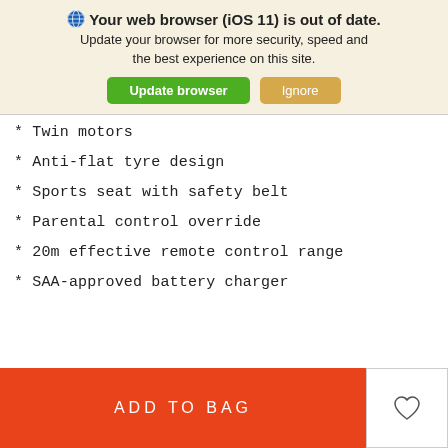🌐 Your web browser (iOS 11) is out of date. Update your browser for more security, speed and the best experience on this site.
* Twin motors
* Anti-flat tyre design
* Sports seat with safety belt
* Parental control override
* 20m effective remote control range
* SAA-approved battery charger
ADD TO BAG